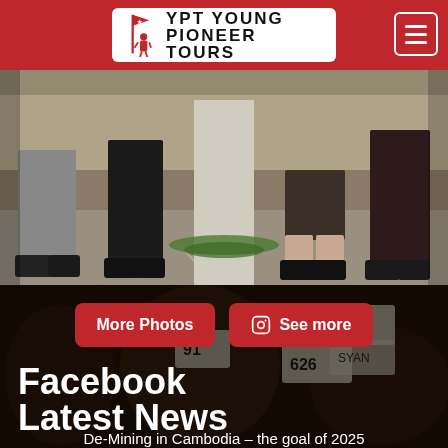YPT YOUNG PIONEER TOURS
[Figure (photo): Photo showing the lower bodies and legs of four people standing near a concrete pillar outdoors]
More Photos
See more
Facebook
Latest News
De-Mining in Cambodia – the goal of 2025